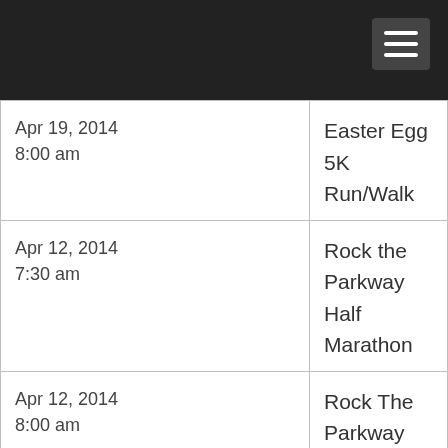| Date/Time | Event |
| --- | --- |
| Apr 19, 2014
8:00 am | Easter Egg 5K Run/Walk |
| Apr 12, 2014
7:30 am | Rock the Parkway Half Marathon |
| Apr 12, 2014
8:00 am | Rock The Parkway 5K |
| Apr 5, 2014
9:00 am | Eagle Egg 5K Run/Walk |
| Apr 5, 2014 | Head For The Cure 5K |